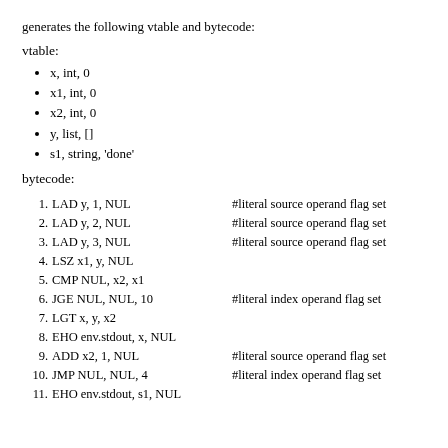generates the following vtable and bytecode:
vtable:
x, int, 0
x1, int, 0
x2, int, 0
y, list, []
s1, string, 'done'
bytecode:
1. LAD y, 1, NUL    #literal source operand flag set
2. LAD y, 2, NUL    #literal source operand flag set
3. LAD y, 3, NUL    #literal source operand flag set
4. LSZ x1, y, NUL
5. CMP NUL, x2, x1
6. JGE NUL, NUL, 10    #literal index operand flag set
7. LGT x, y, x2
8. EHO env.stdout, x, NUL
9. ADD x2, 1, NUL    #literal source operand flag set
10. JMP NUL, NUL, 4    #literal index operand flag set
11. EHO env.stdout, s1, NUL